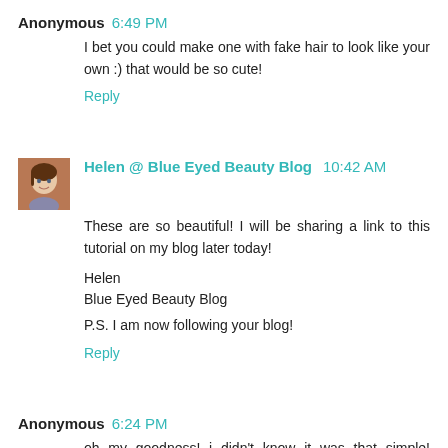Anonymous 6:49 PM
I bet you could make one with fake hair to look like your own :) that would be so cute!
Reply
Helen @ Blue Eyed Beauty Blog 10:42 AM
These are so beautiful! I will be sharing a link to this tutorial on my blog later today!

Helen
Blue Eyed Beauty Blog

P.S. I am now following your blog!
Reply
Anonymous 6:24 PM
oh my goodness! i didn't know it was that simple! thanks for the post! i love it!